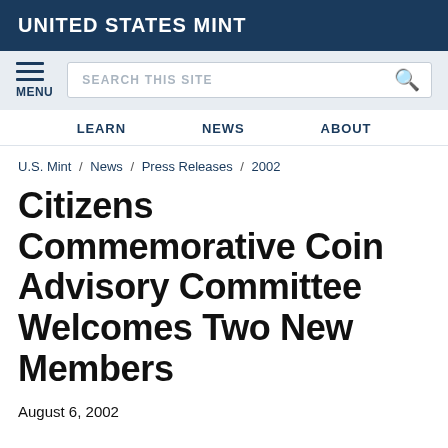UNITED STATES MINT
MENU  SEARCH THIS SITE
LEARN  NEWS  ABOUT
U.S. Mint / News / Press Releases / 2002
Citizens Commemorative Coin Advisory Committee Welcomes Two New Members
August 6, 2002